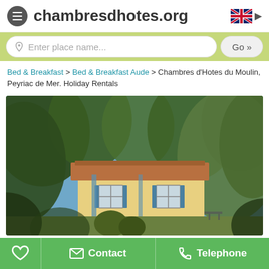chambresdhotes.org
Enter place name...  Go »
Bed & Breakfast > Bed & Breakfast Aude > Chambres d'Hotes du Moulin, Peyriac de Mer. Holiday Rentals
[Figure (photo): Exterior photo of a yellow-painted French house with terracotta tile roof, surrounded by large trees including olive trees, with garden plantings in foreground]
Contact  Telephone